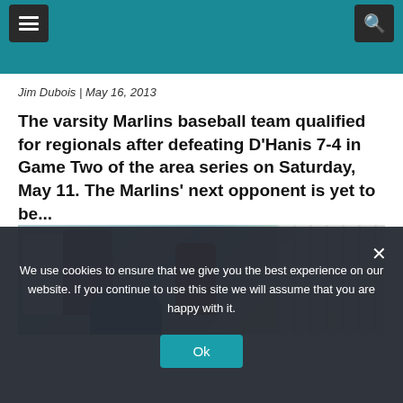Navigation header with menu and search buttons
Jim Dubois | May 16, 2013
The varsity Marlins baseball team qualified for regionals after defeating D'Hanis 7-4 in Game Two of the area series on Saturday, May 11. The Marlins' next opponent is yet to be...
[Figure (photo): Baseball players and coaches in dugout area, with a blue helmet in the foreground and chain-link fence in the background]
We use cookies to ensure that we give you the best experience on our website. If you continue to use this site we will assume that you are happy with it.